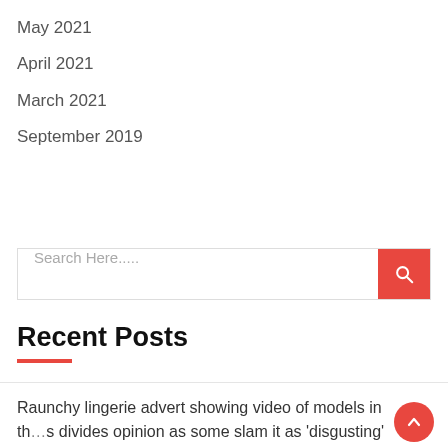May 2021
April 2021
March 2021
September 2019
Search Here.....
Recent Posts
Raunchy lingerie advert showing video of models in th…s divides opinion as some slam it as ‘disgusting’